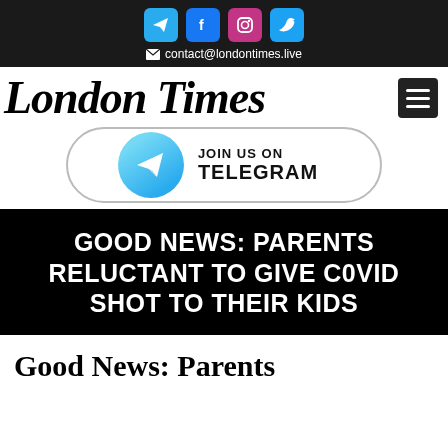contact@londontimes.live
London Times
[Figure (infographic): Join us on Telegram button with Telegram logo circle]
GOOD NEWS: PARENTS RELUCTANT TO GIVE C0VID SHOT TO THEIR KIDS
Good News: Parents